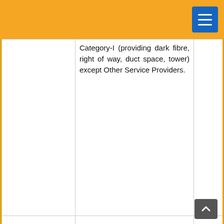|  |  |  |  |
| --- | --- | --- | --- |
|  | Category-I (providing dark fibre, right of way, duct space, tower) except Other Service Providers. |  |  |
| 15.1.1 | Other condition: |  |  |
|  | FDI up to 100% with 49% on the automatic route and beyond 49% on the government route subject to observance of licensing and security conditions by licensee as well as investors as notified by the Department of Telecommunications (DoT) from time to time, expect "Other Service Providers", which are allowed 100% FDI on the automatic route. |  |  |